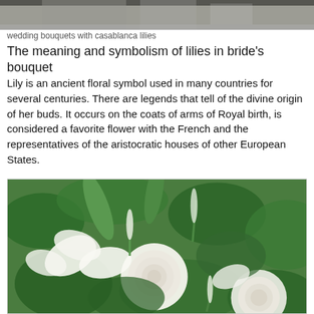[Figure (photo): Top portion of a wedding bouquet with white flowers and dark foliage, partially cropped]
wedding bouquets with casablanca lilies
The meaning and symbolism of lilies in bride’s bouquet
Lily is an ancient floral symbol used in many countries for several centuries. There are legends that tell of the divine origin of her buds. It occurs on the coats of arms of Royal birth, is considered a favorite flower with the French and the representatives of the aristocratic houses of other European States.
[Figure (photo): Close-up photograph of a wedding bouquet featuring white roses, white lilies, and green foliage including large lily buds and small white spike flowers]